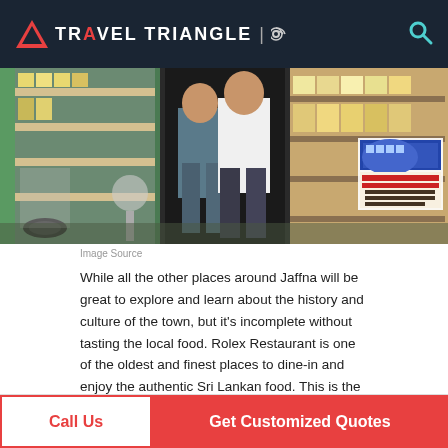TRAVEL TRIANGLE
[Figure (photo): Two men standing inside a Sri Lankan shop/store with shelves of goods and a bus travel poster in the background]
Image Source
While all the other places around Jaffna will be great to explore and learn about the history and culture of the town, but it's incomplete without tasting the local food. Rolex Restaurant is one of the oldest and finest places to dine-in and enjoy the authentic Sri Lankan food. This is the perfect place to sit and enjoy delicious delicacies at a very cheap price.
Call Us | Get Customized Quotes